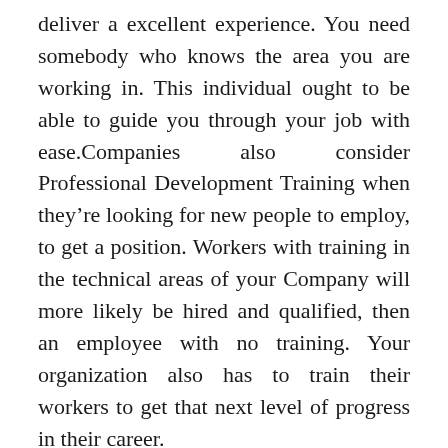deliver a excellent experience. You need somebody who knows the area you are working in. This individual ought to be able to guide you through your job with ease.Companies also consider Professional Development Training when they're looking for new people to employ, to get a position. Workers with training in the technical areas of your Company will more likely be hired and qualified, then an employee with no training. Your organization also has to train their workers to get that next level of progress in their career.